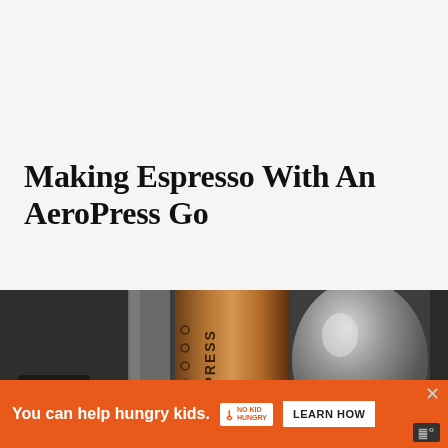Making Espresso With An AeroPress Go
[Figure (photo): Close-up photograph of an AeroPress Go coffee maker, a cylindrical metal-toned device with 'AEROPRESS' text visible, alongside other metallic coffee equipment on a blurred background.]
You can help hungry kids. NO KID HUNGRY LEARN HOW